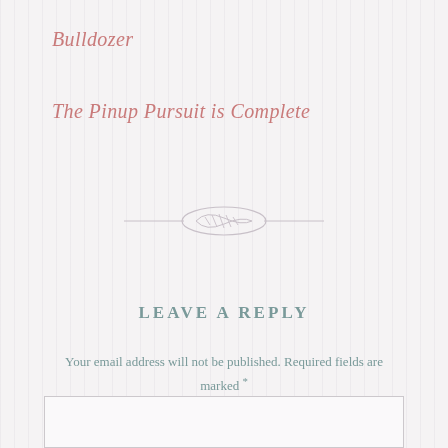Bulldozer
The Pinup Pursuit is Complete
[Figure (illustration): Decorative swirl/divider ornament in light gray]
LEAVE A REPLY
Your email address will not be published. Required fields are marked *